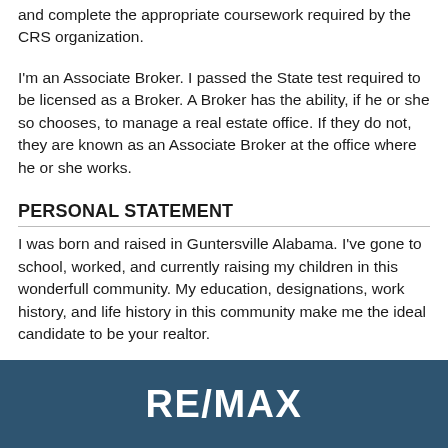and complete the appropriate coursework required by the CRS organization.
I'm an Associate Broker. I passed the State test required to be licensed as a Broker. A Broker has the ability, if he or she so chooses, to manage a real estate office. If they do not, they are known as an Associate Broker at the office where he or she works.
PERSONAL STATEMENT
I was born and raised in Guntersville Alabama. I've gone to school, worked, and currently raising my children in this wonderfull community. My education, designations, work history, and life history in this community make me the ideal candidate to be your realtor.
[Figure (logo): RE/MAX logo in white text on dark blue background]